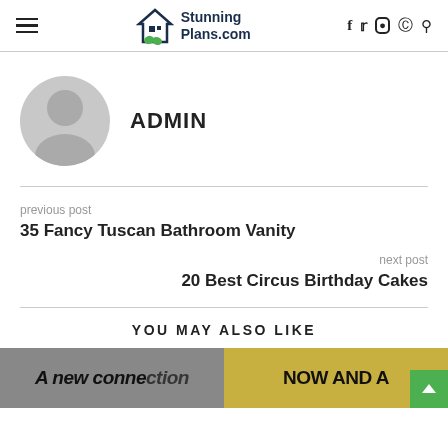StunningPlans.com
[Figure (illustration): Grey circular avatar placeholder with person silhouette icon]
ADMIN
previous post
35 Fancy Tuscan Bathroom Vanity
next post
20 Best Circus Birthday Cakes
YOU MAY ALSO LIKE
[Figure (photo): Two teaser images at bottom: left shows 'A new connection' text on dark background, right shows 'NOW AND A' text on yellow/gold background]